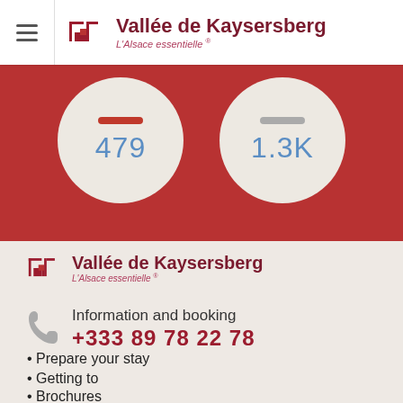Vallée de Kaysersberg — L'Alsace essentielle®
[Figure (infographic): Two circular bubbles on a red background showing numbers 479 and 1.3K]
[Figure (logo): Vallée de Kaysersberg logo with tagline L'Alsace essentielle®]
Information and booking
+333 89 78 22 78
Prepare your stay
Getting to
Brochures